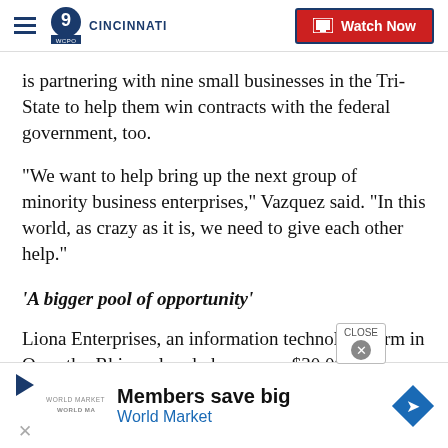WCPO 9 Cincinnati | Watch Now
is partnering with nine small businesses in the Tri-State to help them win contracts with the federal government, too.
“We want to help bring up the next group of minority business enterprises,” Vazquez said. “In this world, as crazy as it is, we need to give each other help.”
‘A bigger pool of opportunity’
Liona Enterprises, an information technology firm in Over-the-Rhine, already has won a $30,000
[Figure (other): Advertisement banner: Members save big World Market]